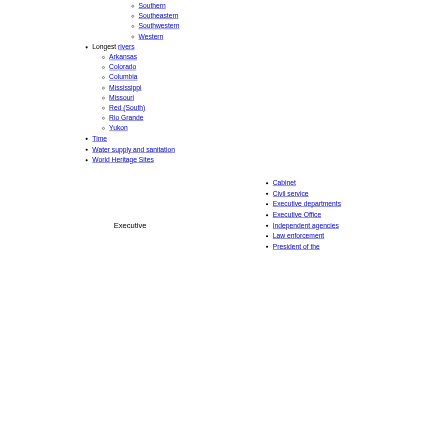Southern
Southeastern
Southwestern
Western
Longest rivers
Arkansas
Colorado
Columbia
Mississippi
Missouri
Red (South)
Rio Grande
Yukon
Time
Water supply and sanitation
World Heritage Sites
Executive
Cabinet
Civil service
Executive departments
Executive Office
Independent agencies
Law enforcement
President of the